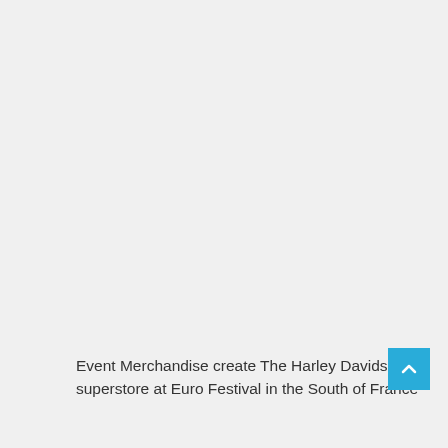[Figure (other): Large empty light gray area occupying the upper portion of the page]
Event Merchandise create The Harley Davidson superstore at Euro Festival in the South of France